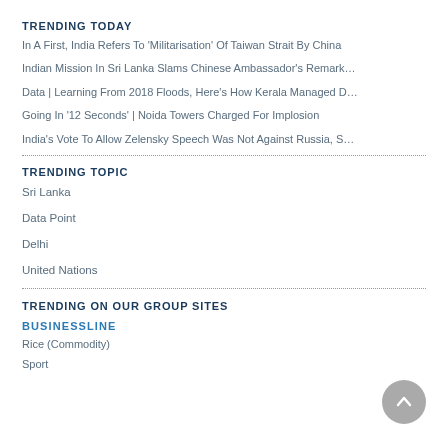TRENDING TODAY
In A First, India Refers To ‘Militarisation’ Of Taiwan Strait By China
Indian Mission In Sri Lanka Slams Chinese Ambassador’s Remark…
Data | Learning From 2018 Floods, Here’s How Kerala Managed D…
Going In ‘12 Seconds’ | Noida Towers Charged For Implosion
India’s Vote To Allow Zelensky Speech Was Not Against Russia, S…
TRENDING TOPIC
Sri Lanka
Data Point
Delhi
United Nations
TRENDING ON OUR GROUP SITES
BUSINESSLINE
Rice (Commodity)
Sport